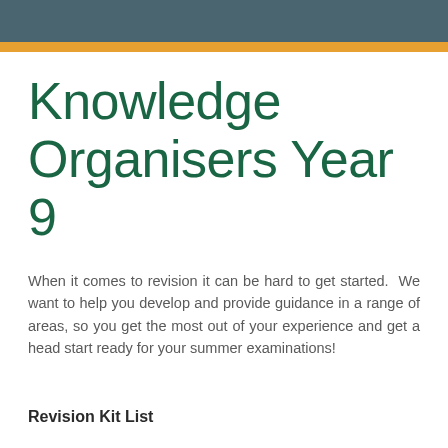Knowledge Organisers Year 9
When it comes to revision it can be hard to get started.  We want to help you develop and provide guidance in a range of areas, so you get the most out of your experience and get a head start ready for your summer examinations!
Revision Kit List